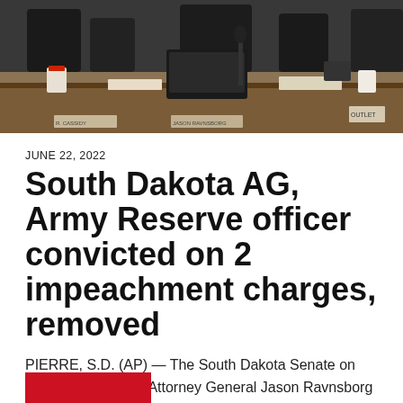[Figure (photo): Courtroom photo showing people seated at a hearing table with a laptop, microphone, papers, and cups on the table.]
JUNE 22, 2022
South Dakota AG, Army Reserve officer convicted on 2 impeachment charges, removed
PIERRE, S.D. (AP) — The South Dakota Senate on Tuesday convicted Attorney General Jason Ravnsborg of two impeachment charges stemming from a 2020 fatal crash,...